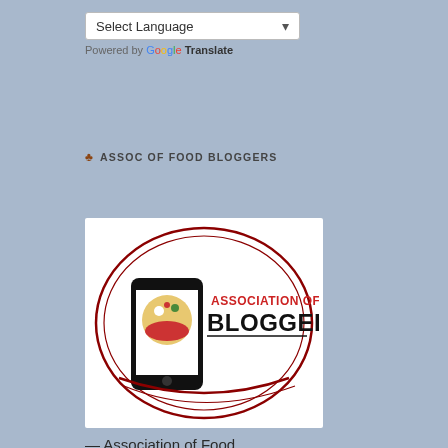[Figure (screenshot): Google Translate widget with 'Select Language' dropdown and 'Powered by Google Translate' text]
♣ ASSOC OF FOOD BLOGGERS
[Figure (logo): Association of Food Bloggers logo: smartphone with food bowl image, circular design with red arc lines, text 'ASSOCIATION OF BLOGGERS' in red and black]
— Association of Food Bloggers
♣ BFM DRIVE-THRU
[Figure (photo): Boise Farmers Market banner/image with teal background showing text 'BOISE FARMERS MARKET' in dark green]